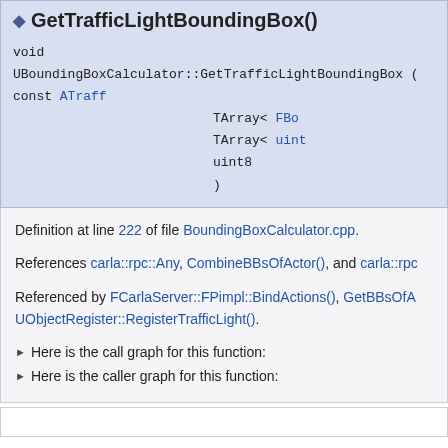GetTrafficLightBoundingBox()
void
UBoundingBoxCalculator::GetTrafficLightBoundingBox ( const ATraff
    TArray< FBo
    TArray< uint
    uint8
)
Definition at line 222 of file BoundingBoxCalculator.cpp.
References carla::rpc::Any, CombineBBsOfActor(), and carla::rpc
Referenced by FCarlaServer::FPimpl::BindActions(), GetBBsOfA UObjectRegister::RegisterTrafficLight().
Here is the call graph for this function:
Here is the caller graph for this function: